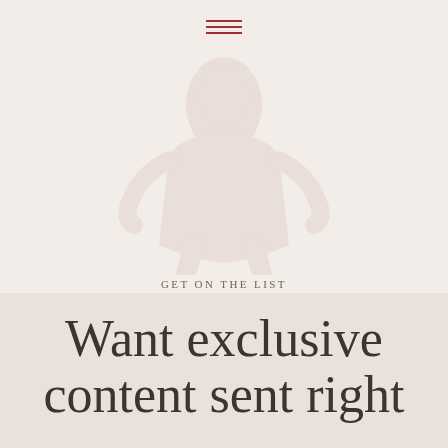[Figure (logo): Faint watermark logo of a woman figure in muted rose/gray tones on a light beige background]
GET ON THE LIST
Want exclusive content sent right